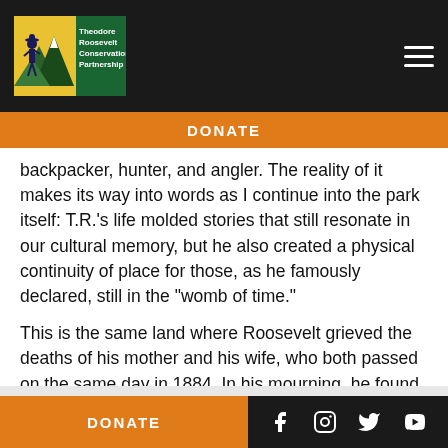[Figure (logo): Theodore Roosevelt Conservation Partnership logo with mountain and hunter silhouette on green/yellow background with white text]
DONATE
backpacker, hunter, and angler. The reality of it makes its way into words as I continue into the park itself: T.R.'s life molded stories that still resonate in our cultural memory, but he also created a physical continuity of place for those, as he famously declared, still in the “womb of time.”
This is the same land where Roosevelt grieved the deaths of his mother and his wife, who both passed on the same day in 1884. In his mourning, he found solace among this wild and broken country. He then saw his own sense of loss reflected in the waning
DONATE